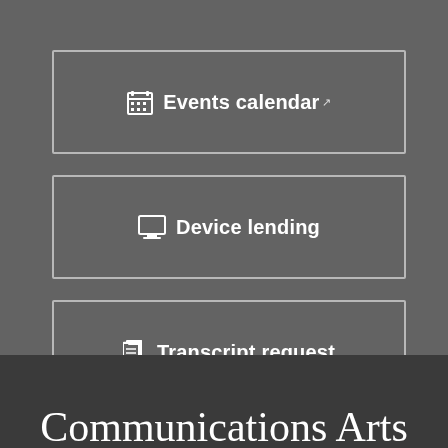Events calendar
Device lending
Transcript request
Communications Arts